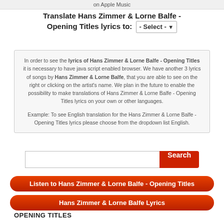on Apple Music
Translate Hans Zimmer & Lorne Balfe - Opening Titles lyrics to: - Select -
In order to see the lyrics of Hans Zimmer & Lorne Balfe - Opening Titles it is necessary to have java script enabled browser. We have another 3 lyrics of songs by Hans Zimmer & Lorne Balfe, that you are able to see on the right or clicking on the artist's name. We plan in the future to enable the possibility to make translations of Hans Zimmer & Lorne Balfe - Opening Titles lyrics on your own or other languages.

Example: To see English translation for the Hans Zimmer & Lorne Balfe - Opening Titles lyrics please choose from the dropdown list English.
Search
Listen to Hans Zimmer & Lorne Balfe - Opening Titles
Hans Zimmer & Lorne Balfe Lyrics
OPENING TITLES